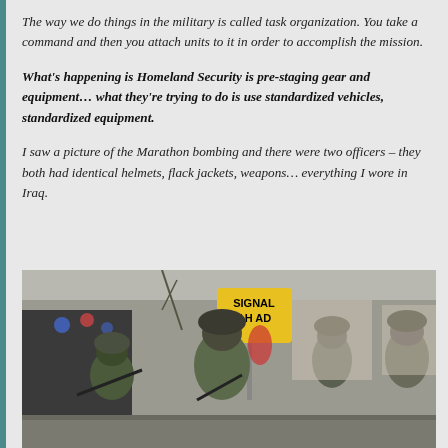The way we do things in the military is called task organization. You take a command and then you attach units to it in order to accomplish the mission.
What's happening is Homeland Security is pre-staging gear and equipment… what they're trying to do is use standardized vehicles, standardized equipment.
I saw a picture of the Marathon bombing and there were two officers – they both had identical helmets, flack jackets, weapons… everything I wore in Iraq.
[Figure (photo): Armed military or law enforcement officers in combat gear, helmets, and body armor on a residential street with a 'Signal Ahead' road sign visible and a vehicle with flashing lights in the background.]